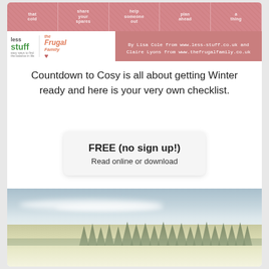[Figure (illustration): Top banner with knitted texture tiles showing phrases 'that cold', 'share your spares', 'help someone out', 'plan ahead', 'a thing'. Below is a pink band with Less Stuff and The Frugal Family logos on the left, and attribution text on the right.]
Countdown to Cosy is all about getting Winter ready and here is your very own checklist.
FREE (no sign up!)
Read online or download
[Figure (photo): Misty winter landscape with silhouetted evergreen trees along the horizon, pale sky with clouds above, and foggy golden-green mist in the lower foreground.]